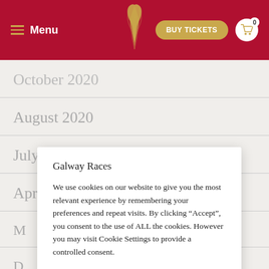Menu | BUY TICKETS | 0
October 2020
August 2020
July 2020
April 2020
Galway Races

We use cookies on our website to give you the most relevant experience by remembering your preferences and repeat visits. By clicking “Accept”, you consent to the use of ALL the cookies. However you may visit Cookie Settings to provide a controlled consent.

Cookie settings | ACCEPT
July 2019